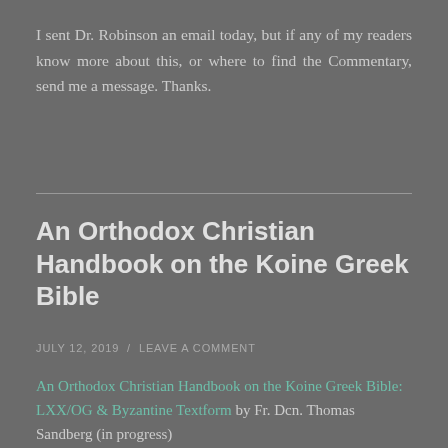I sent Dr. Robinson an email today, but if any of my readers know more about this, or where to find the Commentary, send me a message. Thanks.
An Orthodox Christian Handbook on the Koine Greek Bible
JULY 12, 2019  /  LEAVE A COMMENT
An Orthodox Christian Handbook on the Koine Greek Bible: LXX/OG & Byzantine Textform by Fr. Dcn. Thomas Sandberg (in progress)